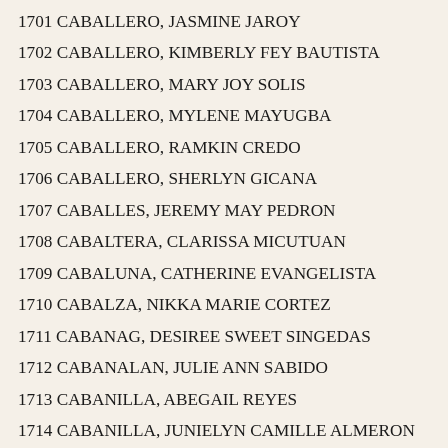1701 CABALLERO, JASMINE JAROY
1702 CABALLERO, KIMBERLY FEY BAUTISTA
1703 CABALLERO, MARY JOY SOLIS
1704 CABALLERO, MYLENE MAYUGBA
1705 CABALLERO, RAMKIN CREDO
1706 CABALLERO, SHERLYN GICANA
1707 CABALLES, JEREMY MAY PEDRON
1708 CABALTERA, CLARISSA MICUTUAN
1709 CABALUNA, CATHERINE EVANGELISTA
1710 CABALZA, NIKKA MARIE CORTEZ
1711 CABANAG, DESIREE SWEET SINGEDAS
1712 CABANALAN, JULIE ANN SABIDO
1713 CABANILLA, ABEGAIL REYES
1714 CABANILLA, JUNIELYN CAMILLE ALMERON
1715 CABANILLA, MARIBELL BULAON
1716 CABANILLA, SHEENA CHARISSE GAVANES
1717 CABANLONG, ARRIANE SALIM
1718 CABANTAC, KARENINA MAY PEPINO
1719 CABANTOY, MARIFIE ARIÑO
1720 CABARAL, MARIANNE DENISSE ALIADO
1721 CABARIOS, CHIARA ALYSSA REANTASO
1722 CABARLES, ROSELYN FRANCISCO